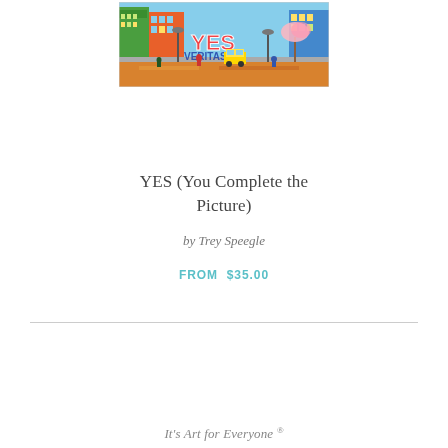[Figure (illustration): Colorful pop-art style painting of a city street scene with 'YES' lettering prominently displayed, featuring buildings, pedestrians, yellow taxi, cherry blossom trees, and reflective wet street in vibrant colors]
YES (You Complete the Picture)
by Trey Speegle
FROM  $35.00
It's Art for Everyone ®